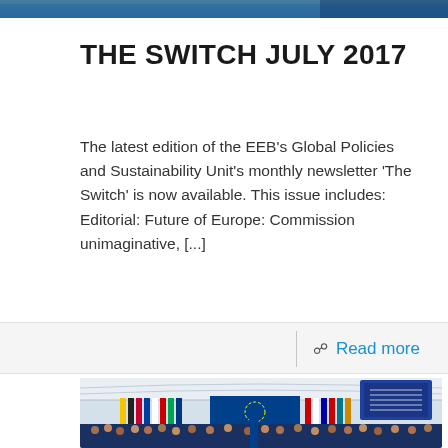[header image strip]
THE SWITCH JULY 2017
The latest edition of the EEB's Global Policies and Sustainability Unit's monthly newsletter 'The Switch' is now available. This issue includes: Editorial: Future of Europe: Commission unimaginative, [...]
Read more
[Figure (photo): Interior of the European Parliament hemicycle with MEPs seated, the EU flag visible at the podium, national flags of EU member states displayed in the background, and voting screens visible.]